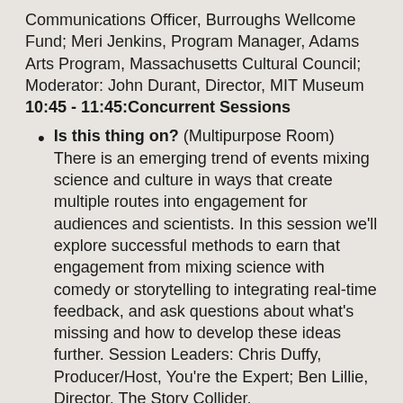Communications Officer, Burroughs Wellcome Fund; Meri Jenkins, Program Manager, Adams Arts Program, Massachusetts Cultural Council; Moderator: John Durant, Director, MIT Museum 10:45 - 11:45:Concurrent Sessions
Is this thing on? (Multipurpose Room) There is an emerging trend of events mixing science and culture in ways that create multiple routes into engagement for audiences and scientists. In this session we'll explore successful methods to earn that engagement from mixing science with comedy or storytelling to integrating real-time feedback, and ask questions about what's missing and how to develop these ideas further. Session Leaders: Chris Duffy, Producer/Host, You're the Expert; Ben Lillie, Director, The Story Collider.